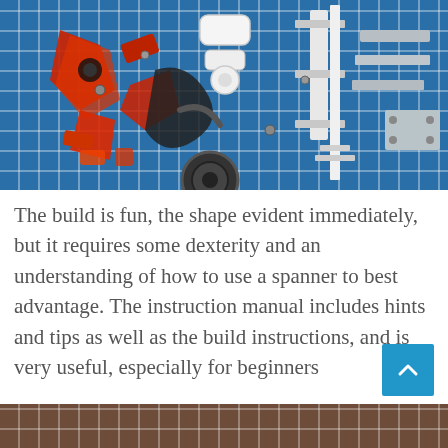[Figure (photo): Overhead photo of robot/model kit parts including red plastic pieces, black metal components, and white structural parts laid out on a blue cutting mat grid]
The build is fun, the shape evident immediately, but it requires some dexterity and an understanding of how to use a spanner to best advantage. The instruction manual includes hints and tips as well as the build instructions, and is very useful, especially for beginners
[Figure (photo): Partial photo visible at bottom of page, brown/warm toned]